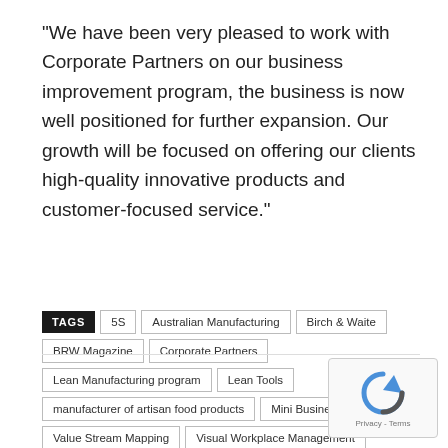“We have been very pleased to work with Corporate Partners on our business improvement program, the business is now well positioned for further expansion. Our growth will be focused on offering our clients high-quality innovative products and customer-focused service.”
TAGS | 5S | Australian Manufacturing | Birch & Waite | BRW Magazine | Corporate Partners | Lean Manufacturing program | Lean Tools | manufacturer of artisan food products | Mini Business Teams | Value Stream Mapping | Visual Workplace Management
[Figure (other): reCAPTCHA widget with circular arrow icon and Privacy - Terms text]